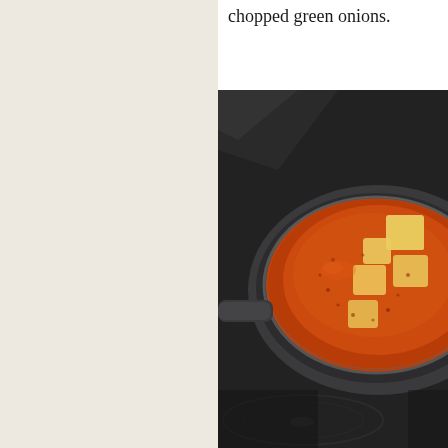chopped green onions.
[Figure (photo): Overhead view of a dark pan or wok containing mapo tofu — cubes of tofu in a rich, deep red-orange spicy sauce — sitting on a dark stovetop surface.]